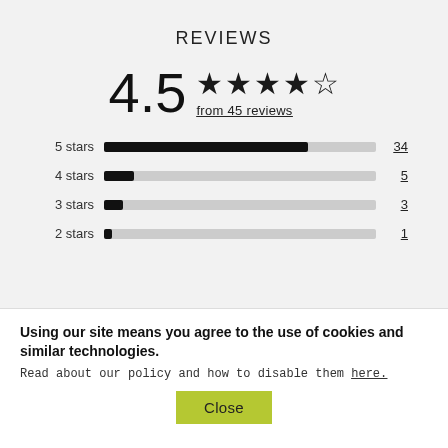REVIEWS
[Figure (bar-chart): 4.5 from 45 reviews]
Using our site means you agree to the use of cookies and similar technologies.
Read about our policy and how to disable them here.
Close